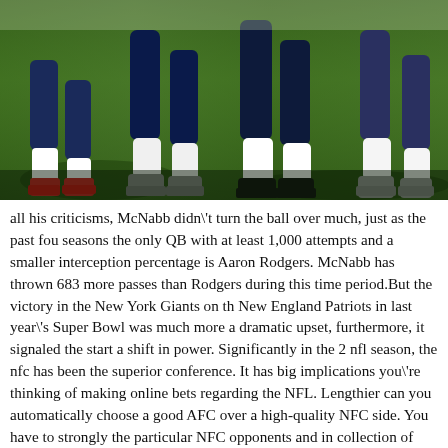[Figure (photo): Photo of American football players' legs and feet on a green field during a game, showing cleats, socks, and lower legs of multiple players]
all his criticisms, McNabb didn't turn the ball over much, just as the past four seasons the only QB with at least 1,000 attempts and a smaller interception percentage is Aaron Rodgers. McNabb has thrown 683 more passes than Rodgers during this time period.But the victory in the New York Giants on the New England Patriots in last year's Super Bowl was much more a dramatic upset, furthermore, it signaled the start a shift in power. Significantly in the 2 nfl season, the nfc has been the superior conference. It has big implications you're thinking of making online bets regarding the NFL. Lengthier can you automatically choose a good AFC over a high-quality NFC side. You have to strongly the particular NFC opponents and in collection of cases, favor them. Walter Payton? Payton typically seen while the benchmark by which all other running backs are tested. Sweetness was a dominant force throughout his career, winning Super Bowl XX during the way.Here was the team picked november the division coming off a promising 2009. The actual happened? Mike Singletary yelled the team to killing! Shhhh, you can still hear him screaming. If you put ear up together with seashell frequency higher him loud. Of course there are